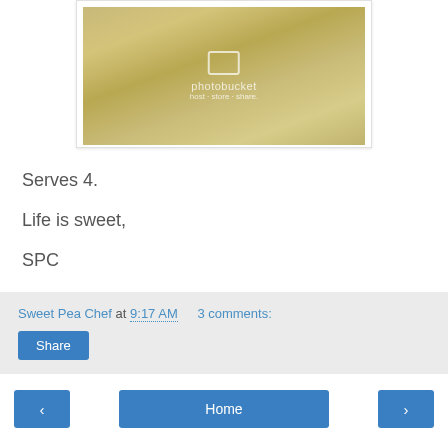[Figure (photo): Food photo showing meat and rice on a plate with a blue rim, watermarked with Photobucket logo]
Serves 4.
Life is sweet,
SPC
Sweet Pea Chef at 9:17 AM   3 comments:
Share
< Home >